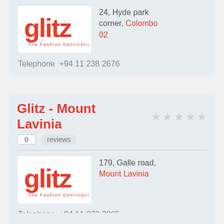[Figure (logo): Glitz - The Fashion Destination logo (red text on white background)]
24, Hyde park corner, Colombo 02
Telephone  +94 11 238 2676
Glitz - Mount Lavinia
0 reviews
[Figure (logo): Glitz - The Fashion Destination logo (red text on white background)]
179, Galle road, Mount Lavinia
Telephone  +94 11 273 3865